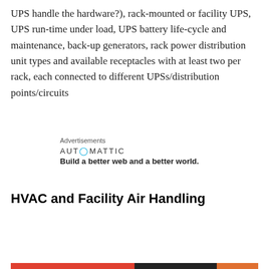UPS handle the hardware?), rack-mounted or facility UPS, UPS run-time under load, UPS battery life-cycle and maintenance, back-up generators, rack power distribution unit types and available receptacles with at least two per rack, each connected to different UPSs/distribution points/circuits
[Figure (other): Automattic advertisement: logo text 'AUTOMATTIC' with a blue dot over the O, tagline 'Build a better web and a better world.']
HVAC and Facility Air Handling
Privacy & Cookies: This site uses cookies. By continuing to use this website, you agree to their use.
To find out more, including how to control cookies, see here: Cookie Policy
Close and accept